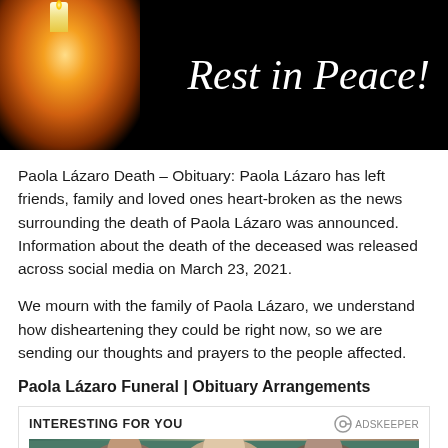[Figure (photo): Black background banner with a lit candle on the left side glowing orange/amber, and cursive white text reading 'Rest in Peace!' on the right side]
Paola Lázaro Death – Obituary: Paola Lázaro has left friends, family and loved ones heart-broken as the news surrounding the death of Paola Lázaro was announced. Information about the death of the deceased was released across social media on March 23, 2021.
We mourn with the family of Paola Lázaro, we understand how disheartening they could be right now, so we are sending our thoughts and prayers to the people affected.
Paola Lázaro Funeral | Obituary Arrangements
[Figure (photo): Advertisement image showing three people (two men and a woman with blonde hair) in what appears to be a promotional photo, with 'INTERESTING FOR YOU' label and ADSKEEPER branding]